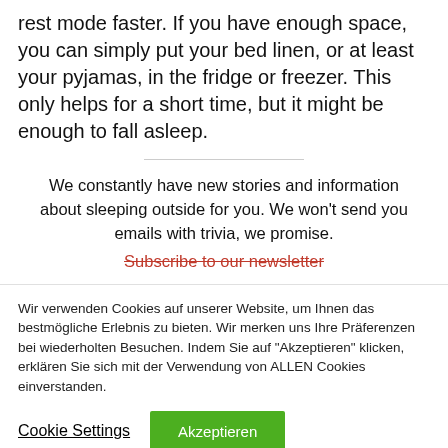rest mode faster. If you have enough space, you can simply put your bed linen, or at least your pyjamas, in the fridge or freezer. This only helps for a short time, but it might be enough to fall asleep.
We constantly have new stories and information about sleeping outside for you. We won't send you emails with trivia, we promise.
Subscribe to our newsletter
Wir verwenden Cookies auf unserer Website, um Ihnen das bestmögliche Erlebnis zu bieten. Wir merken uns Ihre Präferenzen bei wiederholten Besuchen. Indem Sie auf "Akzeptieren" klicken, erklären Sie sich mit der Verwendung von ALLEN Cookies einverstanden.
Cookie Settings
Akzeptieren